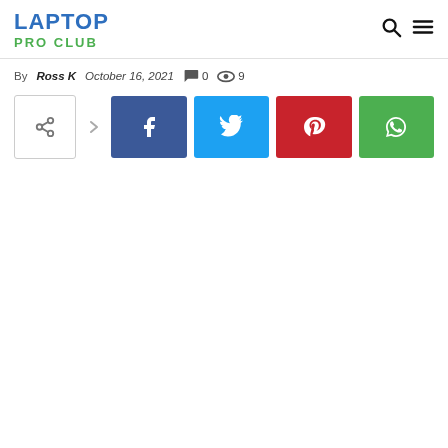LAPTOP PRO CLUB
By Ross K   October 16, 2021   0   9
[Figure (other): Social share buttons: share icon, Facebook, Twitter, Pinterest, WhatsApp]